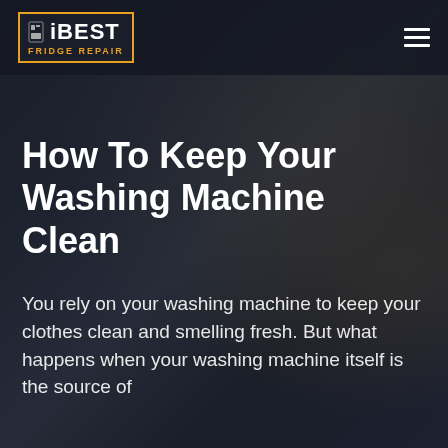[Figure (logo): iBEST Fridge Repair logo in a yellow-bordered box with white bold text and yellow subtitle]
How To Keep Your Washing Machine Clean
You rely on your washing machine to keep your clothes clean and smelling fresh. But what happens when your washing machine itself is the source of